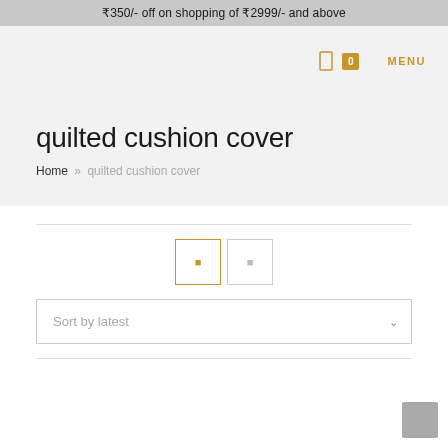₹350/- off on shopping of ₹2999/- and above
MENU
quilted cushion cover
Home » quilted cushion cover
Sort by latest